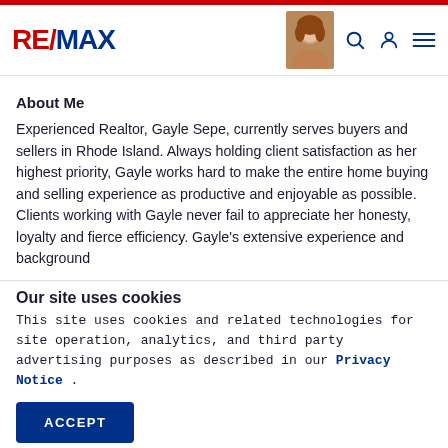RE/MAX
About Me
Experienced Realtor, Gayle Sepe, currently serves buyers and sellers in Rhode Island. Always holding client satisfaction as her highest priority, Gayle works hard to make the entire home buying and selling experience as productive and enjoyable as possible. Clients working with Gayle never fail to appreciate her honesty, loyalty and fierce efficiency. Gayle's extensive experience and background
Our site uses cookies
This site uses cookies and related technologies for site operation, analytics, and third party advertising purposes as described in our Privacy Notice .
ACCEPT